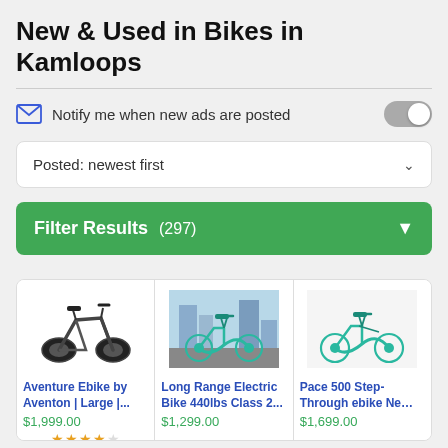New & Used in Bikes in Kamloops
Notify me when new ads are posted
Posted: newest first
Filter Results (297)
[Figure (photo): Fat tire electric bike (Aventure Ebike by Aventon, large) shown in dark color on white background]
Aventure Ebike by Aventon | Large |...
$1,999.00
[Figure (photo): Teal/aqua step-through electric bike (Long Range Electric Bike 440lbs Class 2) shown on city street]
Long Range Electric Bike 440lbs Class 2...
$1,299.00
[Figure (photo): Teal step-through ebike (Pace 500 Step-Through ebike) on white background]
Pace 500 Step-Through ebike Ne…
$1,699.00